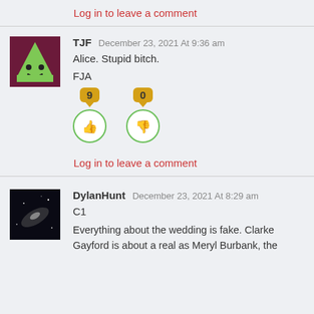Log in to leave a comment
[Figure (illustration): Avatar for TJF: dark magenta background with a green triangle/cone character with eyes and a smile]
TJF December 23, 2021 At 9:36 am
Alice. Stupid bitch.

FJA
[Figure (illustration): Vote buttons: thumbs up with count 9 (yellow bubble), thumbs down with count 0 (yellow bubble), both in green circles]
Log in to leave a comment
[Figure (photo): Avatar for DylanHunt: dark space/galaxy photo]
DylanHunt December 23, 2021 At 8:29 am
C1

Everything about the wedding is fake. Clarke Gayford is about a real as Meryl Burbank, the